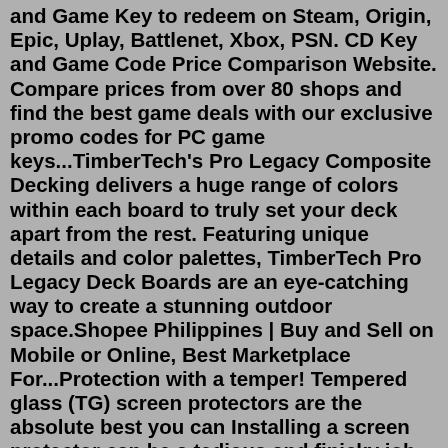and Game Key to redeem on Steam, Origin, Epic, Uplay, Battlenet, Xbox, PSN. CD Key and Game Code Price Comparison Website. Compare prices from over 80 shops and find the best game deals with our exclusive promo codes for PC game keys...TimberTech's Pro Legacy Composite Decking delivers a huge range of colors within each board to truly set your deck apart from the rest. Featuring unique details and color palettes, TimberTech Pro Legacy Deck Boards are an eye-catching way to create a stunning outdoor space.Shopee Philippines | Buy and Sell on Mobile or Online, Best Marketplace For...Protection with a temper! Tempered glass (TG) screen protectors are the absolute best you can Installing a screen protector can be a tedious and finicky job and many people are hesitant to do it At home, your bathroom after a shower is a good place to do it since the steam will make sure no...5. amFilm Screen Protector Compatible with Steam Deck – (3 Pack) Tempered Glass Screen Protector Designed for Steam Deck (7inch) 2021 Features : Specifically